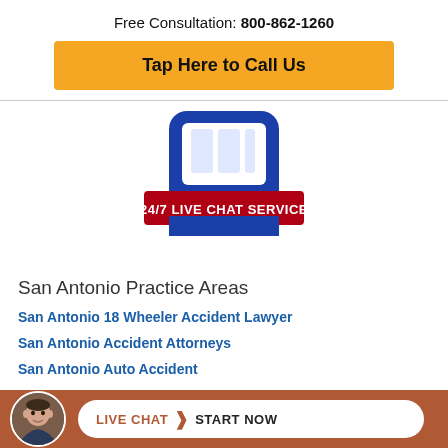Free Consultation: 800-862-1260
Tap Here to Call Us
[Figure (illustration): Blue chat/phone service icon with red banner reading '24/7 LIVE CHAT SERVICE']
San Antonio Practice Areas
San Antonio 18 Wheeler Accident Lawyer
San Antonio Accident Attorneys
San Antonio Auto Accident
LIVE CHAT > START NOW